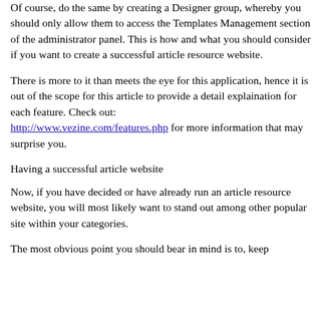Of course, do the same by creating a Designer group, whereby you should only allow them to access the Templates Management section of the administrator panel. This is how and what you should consider if you want to create a successful article resource website.
There is more to it than meets the eye for this application, hence it is out of the scope for this article to provide a detail explaination for each feature. Check out: http://www.vezine.com/features.php for more information that may surprise you.
Having a successful article website
Now, if you have decided or have already run an article resource website, you will most likely want to stand out among other popular site within your categories.
The most obvious point you should bear in mind is to, keep